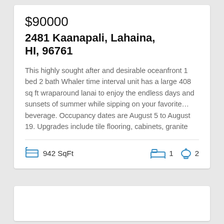$90000
2481 Kaanapali, Lahaina, HI, 96761
This highly sought after and desirable oceanfront 1 bed 2 bath Whaler time interval unit has a large 408 sq ft wraparound lanai to enjoy the endless days and sunsets of summer while sipping on your favorite… beverage. Occupancy dates are August 5 to August 19. Upgrades include tile flooring, cabinets, granite
942 SqFt  |  1 bed  |  2 bath